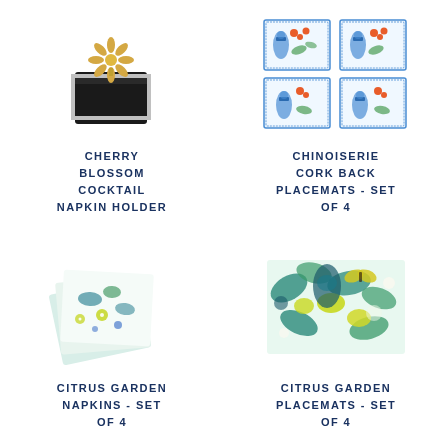[Figure (photo): Cherry Blossom Cocktail Napkin Holder - a dark square holder with decorative gold floral ornament on top]
CHERRY BLOSSOM COCKTAIL NAPKIN HOLDER
[Figure (photo): Chinoiserie Cork Back Placemats Set of 4 - four placemats with blue and white chinoiserie pattern and orange floral accents, shown fanned out]
CHINOISERIE CORK BACK PLACEMATS - SET OF 4
[Figure (photo): Citrus Garden Napkins Set of 4 - stack of napkins with blue green and yellow citrus garden floral pattern]
CITRUS GARDEN NAPKINS - SET OF 4
[Figure (photo): Citrus Garden Placemats Set of 4 - placemats with teal blue green yellow tropical citrus garden pattern]
CITRUS GARDEN PLACEMATS - SET OF 4